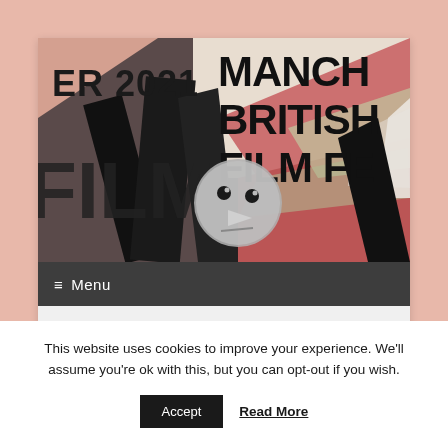[Figure (illustration): Manchester British Film Festival 2021 banner with geometric/constructivist style artwork showing large bold text 'MANCHE BRITISH FILM FE' and 'ER 2021 FILM' on colorful angular shapes in red, pink, green, grey, black. A play button circle overlay is shown in the center.]
≡  Menu
Wednesday 24th Feb
This website uses cookies to improve your experience. We'll assume you're ok with this, but you can opt-out if you wish.